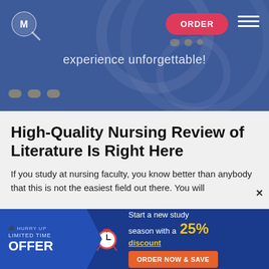[Figure (screenshot): Website header banner with dark blue background, logo (magnifying glass with book), ORDER button in red/pink, hamburger menu icon, tagline 'experience unforgettable!', decorative dots]
High-Quality Nursing Review of Literature Is Right Here
If you study at nursing faculty, you know better than anybody that this is not the easiest field out there. You will
[Figure (infographic): Promotional banner: blue background with arrow shape, 'HURRY UP LIMITED TIME OFFER' text, clock icon, '25% discount' in yellow, 'Start a new study season with a', 'ORDER NOW & SAVE' orange button]